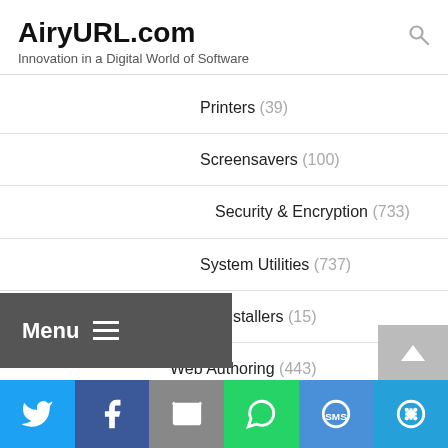AiryURL.com — Innovation in a Digital World of Software
Printers (39)
Screensavers (100)
Security & Encryption (733)
System Utilities (737)
Uninstallers (15)
Web Authoring (443)
HTML Conversion Tools (63)
HTML Editors (32)